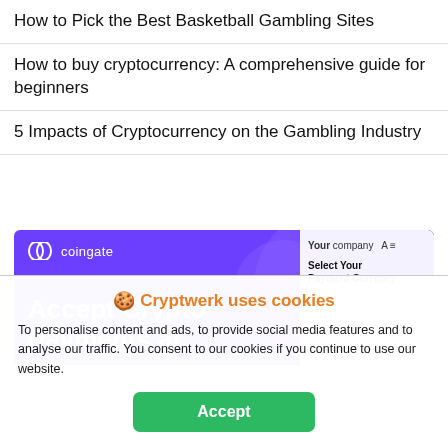How to Pick the Best Basketball Gambling Sites
How to buy cryptocurrency: A comprehensive guide for beginners
5 Impacts of Cryptocurrency on the Gambling Industry
[Figure (screenshot): CoinGate banner advertisement showing logo and 'Accept Crypto Payments at' headline with a payment UI panel on the right side, purple background]
🍪 Cryptwerk uses cookies
To personalise content and ads, to provide social media features and to analyse our traffic. You consent to our cookies if you continue to use our website.
Accept